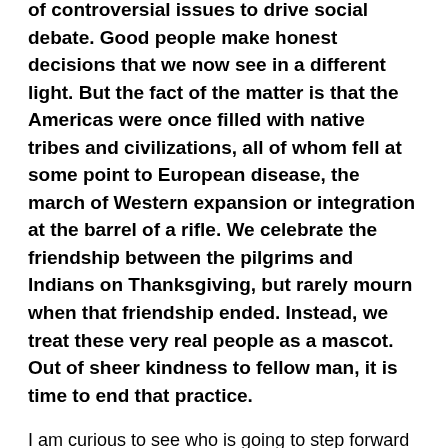of controversial issues to drive social debate. Good people make honest decisions that we now see in a different light. But the fact of the matter is that the Americas were once filled with native tribes and civilizations, all of whom fell at some point to European disease, the march of Western expansion or integration at the barrel of a rifle. We celebrate the friendship between the pilgrims and Indians on Thanksgiving, but rarely mourn when that friendship ended. Instead, we treat these very real people as a mascot. Out of sheer kindness to fellow man, it is time to end that practice.
I am curious to see who is going to step forward and defend the mascot choice. The mascot name is an embarrassment and ought to be canned.